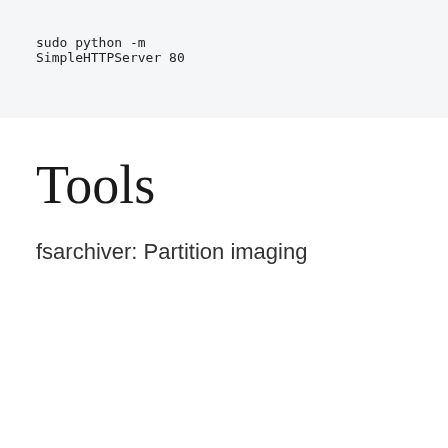Tools
fsarchiver: Partition imaging